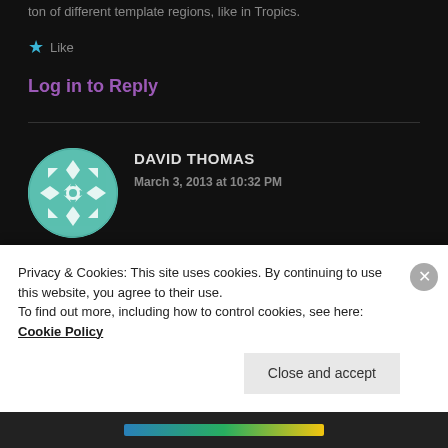ton of different template regions, like in Tropics.
★ Like
Log in to Reply
[Figure (illustration): Avatar image: teal/white geometric quilt pattern circle for user David Thomas]
DAVID THOMAS
March 3, 2013 at 10:32 PM
The always on drm really pisses me off. I have DSL and it does go out now and then. That combined with EA's terrible servers and such well its just going
Privacy & Cookies: This site uses cookies. By continuing to use this website, you agree to their use.
To find out more, including how to control cookies, see here: Cookie Policy
Close and accept